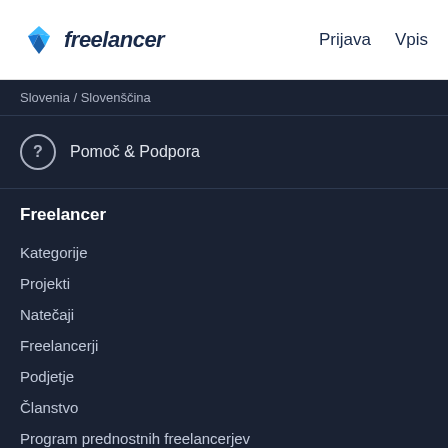freelancer   Prijava   Vpis
Slovenia / Slovenščina
Pomoč & Podpora
Freelancer
Kategorije
Projekti
Natečaji
Freelancerji
Podjetje
Članstvo
Program prednostnih freelancerjev
Upravljanje projektov
Lokalna dela
Fotografija kjer koli
Izložbe